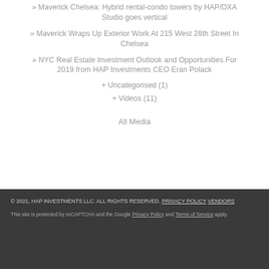» Maverick Chelsea: Hybrid rental-condo towers by HAP/DXA Studio goes vertical
» Maverick Wraps Up Exterior Work At 215 West 28th Street In Chelsea
» NYC Real Estate Investment Outlook and Opportunities For 2019 from HAP Investments CEO Eran Polack
+ Uncategorised (1)
+ Videos (11)
All Media
© 2021, HAP INVESTMENTS LLC. ALL RIGHTS RESERVED. PRIVACY POLICY VENDORS
This site is protected by reCAPTCHA and the Google Privacy Policy and Terms of Service apply.